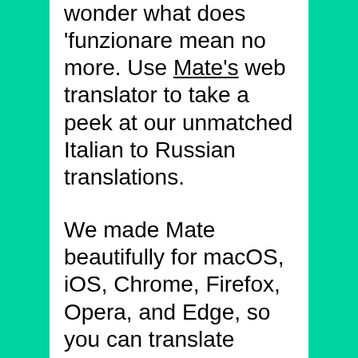wonder what does 'funzionare' mean no more. Use Mate's web translator to take a peek at our unmatched Italian to Russian translations.
We made Mate beautifully for macOS, iOS, Chrome, Firefox, Opera, and Edge, so you can translate anywhere there's text. No more app, browser tab switching, or copy-pasting.
The most advanced machine translation power right where you need it. Effortlessly translate between Italian, Russian, and 101 other languages on any website